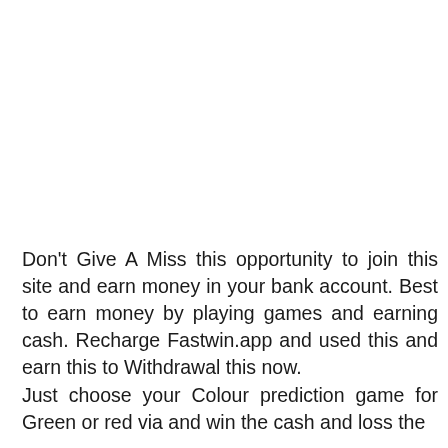Don't Give A Miss this opportunity to join this site and earn money in your bank account. Best to earn money by playing games and earning cash. Recharge Fastwin.app and used this and earn this to Withdrawal this now.
Just choose your Colour prediction game for Green or red via and win the cash and loss the